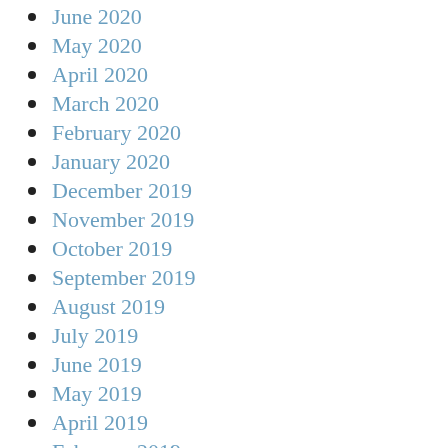June 2020
May 2020
April 2020
March 2020
February 2020
January 2020
December 2019
November 2019
October 2019
September 2019
August 2019
July 2019
June 2019
May 2019
April 2019
February 2019
January 2019